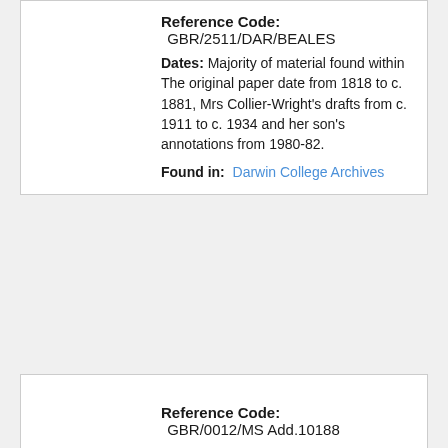Reference Code: GBR/2511/DAR/BEALES
Dates: Majority of material found within The original paper date from 1818 to c. 1881, Mrs Collier-Wright's drafts from c. 1911 to c. 1934 and her son's annotations from 1980-82.
Found in: Darwin College Archives
Reference Code: GBR/0012/MS Add.10188